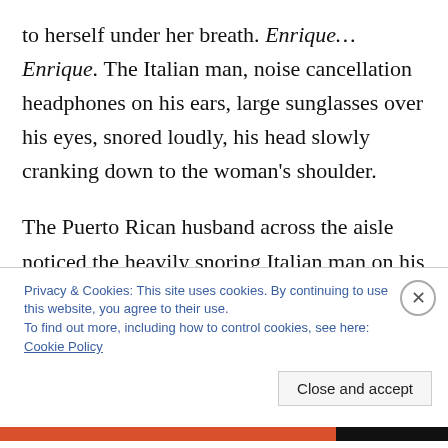to herself under her breath. Enrique…Enrique. The Italian man, noise cancellation headphones on his ears, large sunglasses over his eyes, snored loudly, his head slowly cranking down to the woman's shoulder.
The Puerto Rican husband across the aisle noticed the heavily snoring Italian man on his wife's shoulder. Unsurprisingly, he wasn't happy about it. But instead of tapping the Italian man on the shoulder, or talking
Privacy & Cookies: This site uses cookies. By continuing to use this website, you agree to their use.
To find out more, including how to control cookies, see here: Cookie Policy
Close and accept